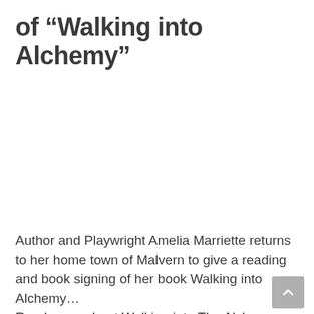of “Walking into Alchemy”
Author and Playwright Amelia Marriette returns to her home town of Malvern to give a reading and book signing of her book Walking into Alchemy…
Read more about Walking into The Alchemy...